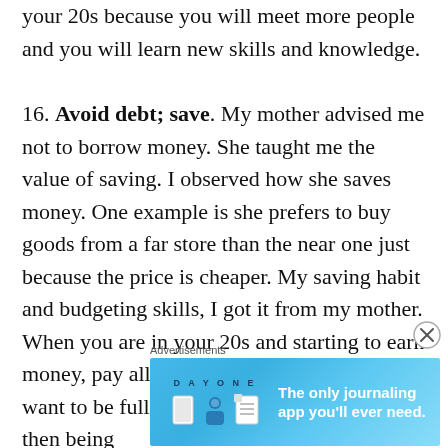your 20s because you will meet more people and you will learn new skills and knowledge.
16. Avoid debt; save. My mother advised me not to borrow money. She taught me the value of saving. I observed how she saves money. One example is she prefers to buy goods from a far store than the near one just because the price is cheaper. My saving habit and budgeting skills, I got it from my mother. When you are in your 20s and starting to earn money, pay all your debts and save. If you want to be fully independent later on in life, then being
Advertisements
[Figure (illustration): DAY ONE journaling app advertisement banner with blue gradient background, app icons, and tagline 'The only journaling app you'll ever need.']